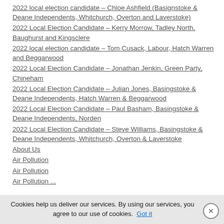2022 local election candidate – Chloe Ashfield (Basignstoke & Deane Independents, Whitchurch, Overton and Laverstoke)
2022 Local Election Candidate – Kerry Morrow, Tadley North, Baughurst and Kingsclere
2022 local election candidate – Tom Cusack, Labour, Hatch Warren and Beggarwood
2022 Local Election Candidate – Jonathan Jenkin, Green Party, Chineham
2022 Local Election Candidate – Julian Jones, Basingstoke & Deane Independents, Hatch Warren & Beggarwood
2022 Local Election Candidate – Paul Basham, Basingstoke & Deane Independents, Norden
2022 Local Election Candidate – Steve Williams, Basingstoke & Deane Independents, Whitchurch, Overton & Laverstoke
About Us
Air Pollution
Air Pollution
Air Pollution ... from Basingstoke Council
Cookies help us deliver our services. By using our services, you agree to our use of cookies. Got it